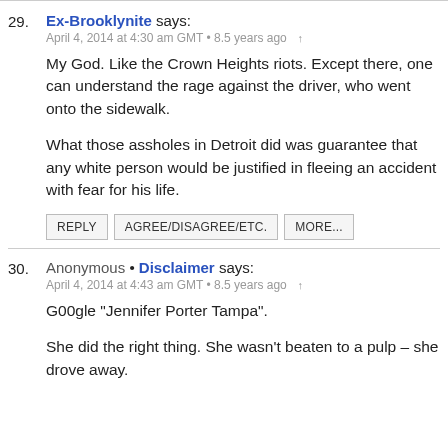29. Ex-Brooklynite says:
April 4, 2014 at 4:30 am GMT • 8.5 years ago ↑

My God. Like the Crown Heights riots. Except there, one can understand the rage against the driver, who went onto the sidewalk.

What those assholes in Detroit did was guarantee that any white person would be justified in fleeing an accident with fear for his life.

REPLY   AGREE/DISAGREE/ETC.   MORE...
30. Anonymous • Disclaimer says:
April 4, 2014 at 4:43 am GMT • 8.5 years ago ↑

G00gle "Jennifer Porter Tampa".

She did the right thing. She wasn't beaten to a pulp – she drove away.